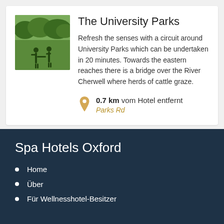[Figure (photo): Photo of University Parks showing green grass and trees with two silhouetted figures holding hands]
The University Parks
Refresh the senses with a circuit around University Parks which can be undertaken in 20 minutes. Towards the eastern reaches there is a bridge over the River Cherwell where herds of cattle graze.
0.7 km vom Hotel entfernt
Parks Rd
Spa Hotels Oxford
Home
Über
Für Wellnesshotel-Besitzer